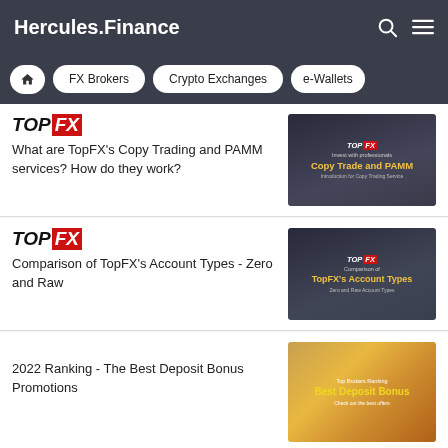Hercules.Finance
FX Brokers | Crypto Exchanges | e-Wallets
TOP FX - What are TopFX's Copy Trading and PAMM services? How do they work?
[Figure (screenshot): TopFX Copy Trade and PAMM promotional thumbnail with city skyline background]
TOP FX - Comparison of TopFX's Account Types - Zero and Raw
[Figure (screenshot): TopFX Account Types comparison thumbnail with city skyline background]
2022 Ranking - The Best Deposit Bonus Promotions
[Figure (screenshot): Best Deposit Bonus promotional thumbnail with money background]